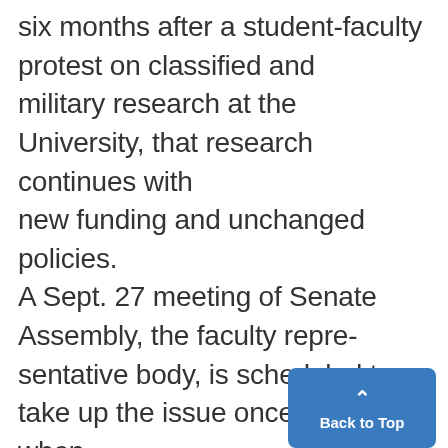six months after a student-faculty protest on classified and military research at the University, that research continues with new funding and unchanged policies. A Sept. 27 meeting of Senate Assembly, the faculty repre-sentative body, is scheduled to take up the issue once again, when its Research Policies Committee suggesting revisions of the faculty's policy on the issue. Since April 1, Classified Research (CRC), the 12-